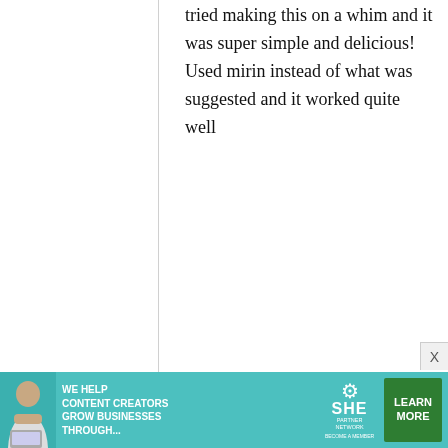tried making this on a whim and it was super simple and delicious! Used mirin instead of what was suggested and it worked quite well
therufs
18 May, 2013 - 02:03
permalink
Re: Chicken Karaage: Japanese
[Figure (infographic): Advertisement banner for SHE Media Partner Network. Teal/green background with photo of woman with laptop, text 'WE HELP CONTENT CREATORS GROW BUSINESSES THROUGH...', SHE logo with gear icon, and green 'LEARN MORE' button. X close button visible top right.]